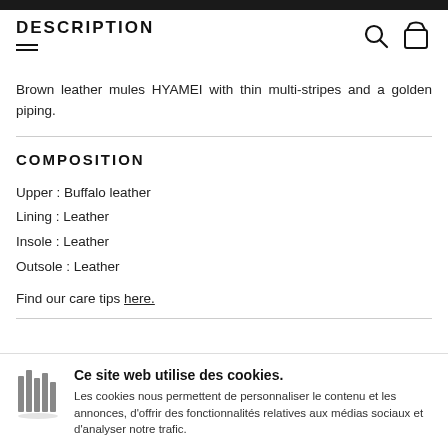DESCRIPTION
Brown leather mules HYAMEI with thin multi-stripes and a golden piping.
COMPOSITION
Upper : Buffalo leather
Lining : Leather
Insole : Leather
Outsole : Leather
Find our care tips here.
Hyamel brown
Ce site web utilise des cookies. Les cookies nous permettent de personnaliser le contenu et les annonces, d'offrir des fonctionnalités relatives aux médias sociaux et d'analyser notre trafic.